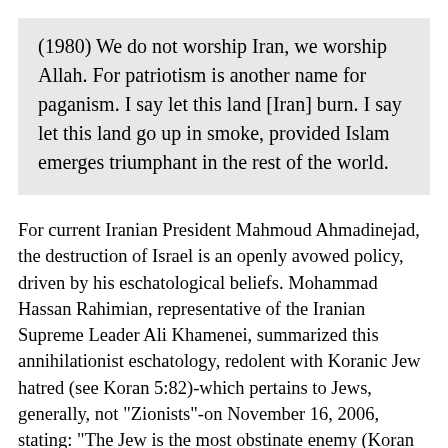(1980) We do not worship Iran, we worship Allah. For patriotism is another name for paganism. I say let this land [Iran] burn. I say let this land go up in smoke, provided Islam emerges triumphant in the rest of the world.
For current Iranian President Mahmoud Ahmadinejad, the destruction of Israel is an openly avowed policy, driven by his eschatological beliefs. Mohammad Hassan Rahimian, representative of the Iranian Supreme Leader Ali Khamenei, summarized this annihilationist eschatology, redolent with Koranic Jew hatred (see Koran 5:82)-which pertains to Jews, generally, not "Zionists"-on November 16, 2006, stating: "The Jew is the most obstinate enemy (Koran 5:82) of the devout. And the main war will determine the destiny of mankind. . . . The reappearance of the Twelfth Imam will lead to a ... between Jews and the Shia"